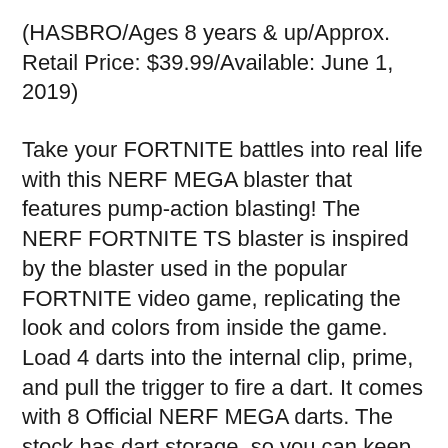(HASBRO/Ages 8 years & up/Approx. Retail Price: $39.99/Available: June 1, 2019)
Take your FORTNITE battles into real life with this NERF MEGA blaster that features pump-action blasting! The NERF FORTNITE TS blaster is inspired by the blaster used in the popular FORTNITE video game, replicating the look and colors from inside the game. Load 4 darts into the internal clip, prime, and pull the trigger to fire a dart. It comes with 8 Official NERF MEGA darts. The stock has dart storage, so you can keep 4 backup darts within reach for fast reloading. Official NERF darts are designed for distance, tested and approved for performance and quality, and constructed of foam with flexible, hollow tips. Drop into indoor and outdoor FORTNITE action with this pump-action dart-firing NERF